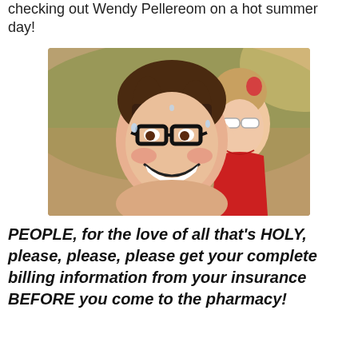checking out Wendy Pellereom on a hot summer day!
[Figure (photo): Two women outdoors on a hot summer day. The foreground woman has dark hair, large black-rimmed glasses, and is sweating and smiling. The background woman has light hair up, white sunglasses, and is wearing a red top.]
PEOPLE, for the love of all that's HOLY, please, please, please get your complete billing information from your insurance BEFORE you come to the pharmacy!